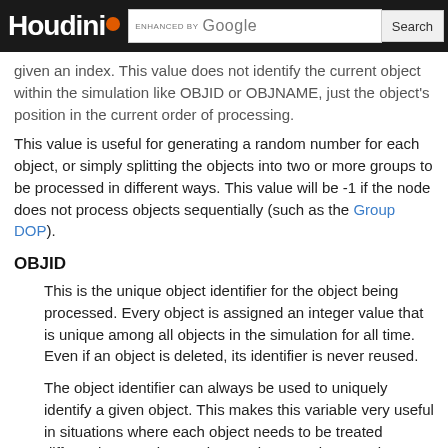Houdini [logo] | ENHANCED BY Google | Search
given an index. This value does not identify the current object within the simulation like OBJID or OBJNAME, just the object's position in the current order of processing.
This value is useful for generating a random number for each object, or simply splitting the objects into two or more groups to be processed in different ways. This value will be -1 if the node does not process objects sequentially (such as the Group DOP).
OBJID
This is the unique object identifier for the object being processed. Every object is assigned an integer value that is unique among all objects in the simulation for all time. Even if an object is deleted, its identifier is never reused.
The object identifier can always be used to uniquely identify a given object. This makes this variable very useful in situations where each object needs to be treated differently. It can be used to produce a unique random number for each object, for